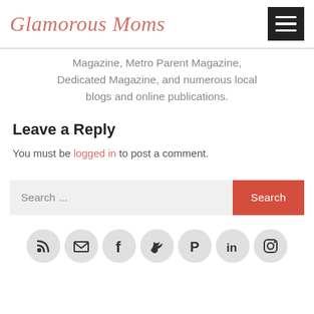Glamorous Moms
Magazine, Metro Parent Magazine, Dedicated Magazine, and numerous local blogs and online publications.
Leave a Reply
You must be logged in to post a comment.
Search ...
[Figure (other): Social media icon buttons (RSS, email, Facebook, Twitter, Pinterest, LinkedIn, Instagram) in circular grey buttons at bottom of page]